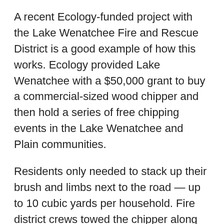A recent Ecology-funded project with the Lake Wenatchee Fire and Rescue District is a good example of how this works. Ecology provided Lake Wenatchee with a $50,000 grant to buy a commercial-sized wood chipper and then hold a series of free chipping events in the Lake Wenatchee and Plain communities.
Residents only needed to stack up their brush and limbs next to the road — up to 10 cubic yards per household. Fire district crews towed the chipper along the road and chipped as they went. By the end of June, fire district collected and chipped more than 14 dump truck loads of brush.
Burning that material would have put nearly a ton of particulate pollution into the air. Thankfully, with the chipper in hand, the fire district will be able to